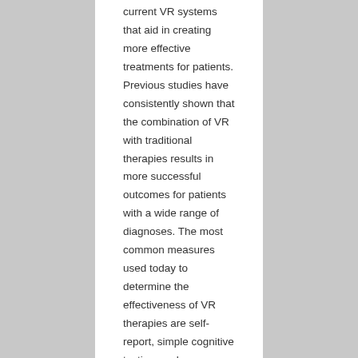current VR systems that aid in creating more effective treatments for patients. Previous studies have consistently shown that the combination of VR with traditional therapies results in more successful outcomes for patients with a wide range of diagnoses. The most common measures used today to determine the effectiveness of VR therapies are self-report, simple cognitive testing, and physiological measurements including skin conductance, peripheral skin temperature, respiration rate, and heart rate.
Some of our early work showed that peripheral physiology did not